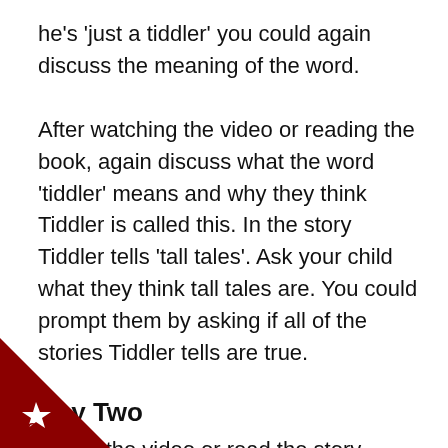he's 'just a tiddler' you could again discuss the meaning of the word.
After watching the video or reading the book, again discuss what the word 'tiddler' means and why they think Tiddler is called this. In the story Tiddler tells 'tall tales'. Ask your child what they think tall tales are. You could prompt them by asking if all of the stories Tiddler tells are true.
Day Two
Watch the video or read the story again and focus on Tiddler's tall tales. What stories did he tell to explain why he was late? After your discussion, ask your child to make up a tall tale for Tiddler and draw a picture of their idea. Once they have drawn
[Figure (illustration): Bottom-left corner red triangle with white star badge and letter C]